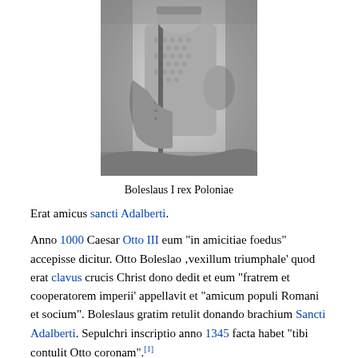[Figure (illustration): A grayscale engraving or illustration depicting a medieval figure (Boleslaus I) in armor holding a staff or scepter, with detailed chainmail and fabric drapery visible.]
Boleslaus I rex Poloniae
Erat amicus sancti Adalberti.
Anno 1000 Caesar Otto III eum "in amicitiae foedus" accepisse dicitur. Otto Boleslao ,vexillum triumphale' quod erat clavus crucis Christ dono dedit et eum "fratrem et cooperatorem imperii' appellavit et "amicum populi Romani et socium". Boleslaus gratim retulit donando brachium Sancti Adalberti. Sepulchri inscriptio anno 1345 facta habet "tibi contulit Otto coronam".[1]